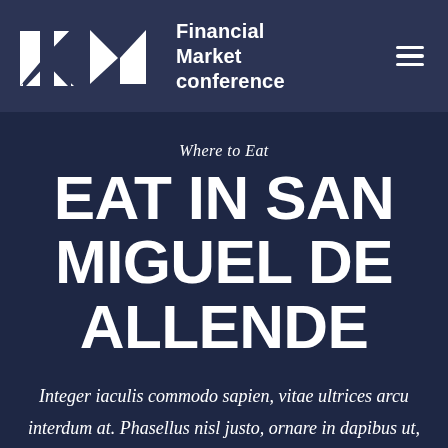Financial Market conference
Where to Eat
EAT IN SAN MIGUEL DE ALLENDE
Integer iaculis commodo sapien, vitae ultrices arcu interdum at. Phasellus nisl justo, ornare in dapibus ut, rutrum eget